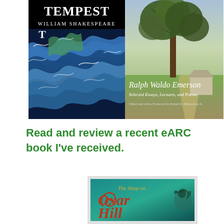[Figure (illustration): Two book covers side by side. Left: 'The Tempest' by William Shakespeare with dark background and swirling ocean waves in blue and green. Right: 'Ralph Waldo Emerson: Selected Essays, Lectures, and Poems' with a pastoral scene of a large tree and farmhouse.]
Read and review a recent eARC book I've received.
[Figure (illustration): Book cover for 'The Shop on Oxar Hill' with a teal/green background, fantasy lettering in red and orange, and a gargoyle-like creature on the right.]